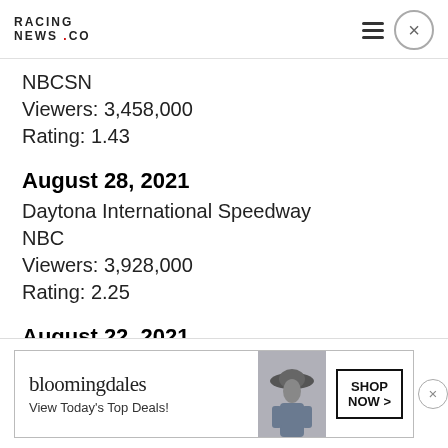RACING NEWS .CO
NBCSN
Viewers: 3,458,000
Rating: 1.43
August 28, 2021
Daytona International Speedway
NBC
Viewers: 3,928,000
Rating: 2.25
August 22, 2021
Michigan International Speedway
NBC
Viewers: 2,505,000
[Figure (other): Bloomingdale's advertisement banner: 'bloomingdales - View Today's Top Deals!' with photo of woman in hat and 'SHOP NOW >' button]